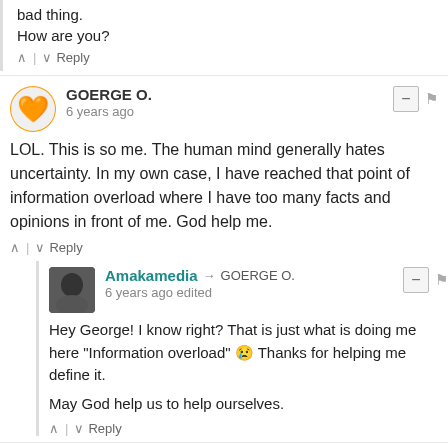bad thing.

How are you?
GOERGE O.
6 years ago
LOL. This is so me. The human mind generally hates uncertainty. In my own case, I have reached that point of information overload where I have too many facts and opinions in front of me. God help me.
Amakamedia → GOERGE O.
6 years ago edited
Hey George! I know right? That is just what is doing me here "Information overload" 😢 Thanks for helping me define it.

May God help us to help ourselves.
Obiri Yaw
6 years ago
H...